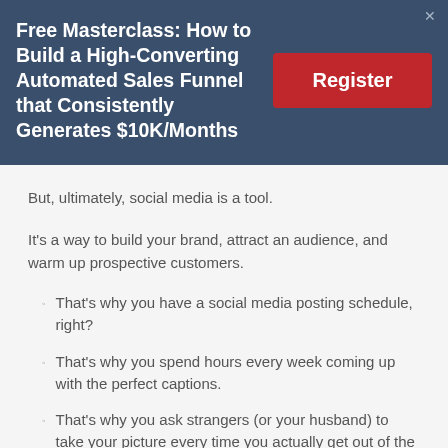Free Masterclass: How to Build a High-Converting Automated Sales Funnel that Consistently Generates $10K/Months
But, ultimately, social media is a tool.
It's a way to build your brand, attract an audience, and warm up prospective customers.
That's why you have a social media posting schedule, right?
That's why you spend hours every week coming up with the perfect captions.
That's why you ask strangers (or your husband) to take your picture every time you actually get out of the house.